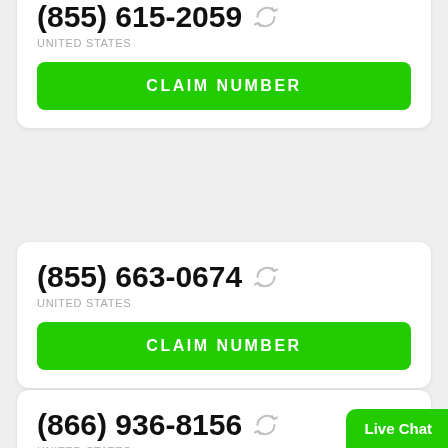(855) 615-2059
UNITED STATES
CLAIM NUMBER
(855) 663-0674
UNITED STATES
CLAIM NUMBER
(866) 936-8156
UNITED STATES
CLAIM NUMBER
Live Chat